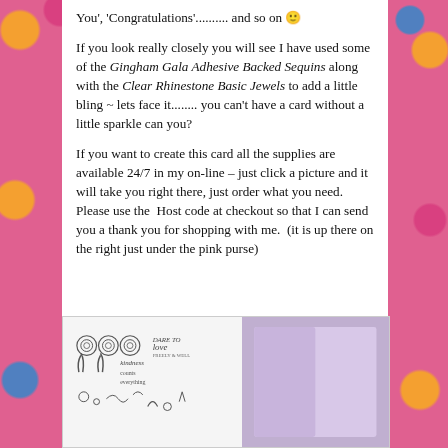You', 'Congratulations'.......... and so on 🙂
If you look really closely you will see I have used some of the Gingham Gala Adhesive Backed Sequins along with the Clear Rhinestone Basic Jewels to add a little bling ~ lets face it........ you can't have a card without a little sparkle can you?
If you want to create this card all the supplies are available 24/7 in my on-line – just click a picture and it will take you right there, just order what you need. Please use the  Host code at checkout so that I can send you a thank you for shopping with me.  (it is up there on the right just under the pink purse)
[Figure (photo): Two images side by side in a white box: left side shows a stamp set with floral and text designs including 'love' and 'kindness counts everything'; right side shows a light purple/lavender card blank.]